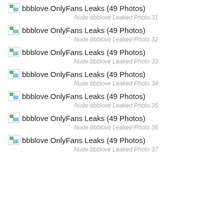[Figure (photo): Broken image placeholder: bbblove OnlyFans Leaks (49 Photos)]
Nude bbblove Leaked Photo 31
[Figure (photo): Broken image placeholder: bbblove OnlyFans Leaks (49 Photos)]
Nude bbblove Leaked Photo 32
[Figure (photo): Broken image placeholder: bbblove OnlyFans Leaks (49 Photos)]
Nude bbblove Leaked Photo 33
[Figure (photo): Broken image placeholder: bbblove OnlyFans Leaks (49 Photos)]
Nude bbblove Leaked Photo 34
[Figure (photo): Broken image placeholder: bbblove OnlyFans Leaks (49 Photos)]
Nude bbblove Leaked Photo 35
[Figure (photo): Broken image placeholder: bbblove OnlyFans Leaks (49 Photos)]
Nude bbblove Leaked Photo 36
[Figure (photo): Broken image placeholder: bbblove OnlyFans Leaks (49 Photos)]
Nude bbblove Leaked Photo 37